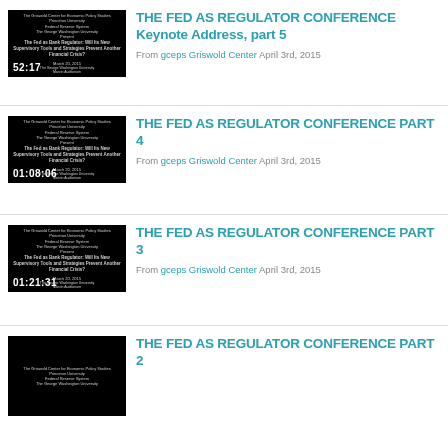[Figure (screenshot): Video thumbnail for The Fed as Bank Regulator keynote, black background with white text, timecode 52:17]
THE FED AS REGULATOR CONFERENCE Keynote Address, part 5
From gceps Griswold Center April 3rd, 2015
[Figure (screenshot): Video thumbnail for The Fed as Bank Regulator conference part 4, black background with white text, timecode 01:08:06]
THE FED AS REGULATOR CONFERENCE PART 4
From gceps Griswold Center April 3rd, 2015
[Figure (screenshot): Video thumbnail for The Fed as Bank Regulator conference part 3, black background with white text, timecode 01:21:31]
THE FED AS REGULATOR CONFERENCE PART 3
From gceps Griswold Center April 3rd, 2015
[Figure (screenshot): Video thumbnail for The Fed as Bank Regulator conference part 2, black background with white text, partially visible]
THE FED AS REGULATOR CONFERENCE PART 2